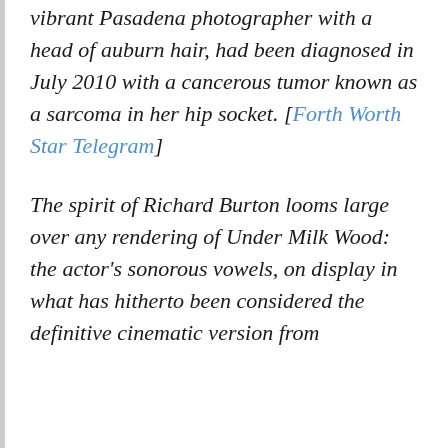vibrant Pasadena photographer with a head of auburn hair, had been diagnosed in July 2010 with a cancerous tumor known as a sarcoma in her hip socket. [Forth Worth Star Telegram]
The spirit of Richard Burton looms large over any rendering of Under Milk Wood: the actor's sonorous vowels, on display in what has hitherto been considered the definitive cinematic version from